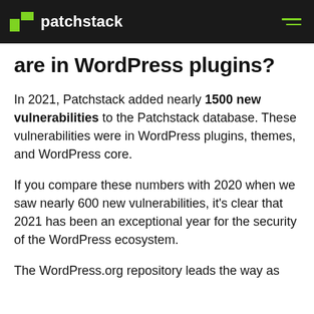patchstack
are in WordPress plugins?
In 2021, Patchstack added nearly 1500 new vulnerabilities to the Patchstack database. These vulnerabilities were in WordPress plugins, themes, and WordPress core.
If you compare these numbers with 2020 when we saw nearly 600 new vulnerabilities, it's clear that 2021 has been an exceptional year for the security of the WordPress ecosystem.
The WordPress.org repository leads the way as